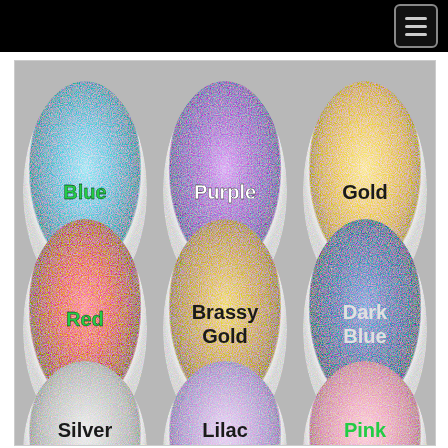Navigation header with hamburger menu button
[Figure (photo): Photo of 9 spools of metallic glitter thread arranged in a 3x3 grid. Top row: Blue (teal/blue sparkle), Purple, Gold. Middle row: Red, Brassy Gold, Dark Blue. Bottom row (partially visible): Silver, Lilac, Pink. Each spool has a color label overlaid on it.]